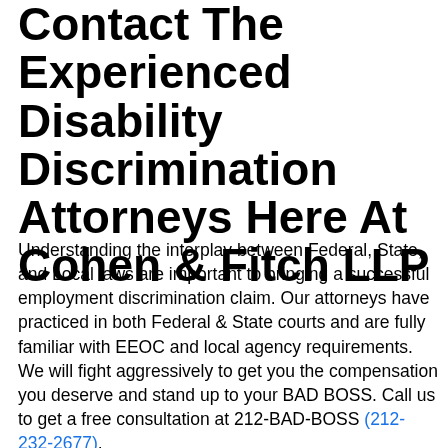Contact The Experienced Disability Discrimination Attorneys Here At Cohen & Fitch LLP
Understanding the interplay between Federal, State, and Local laws are important to bringing a successful employment discrimination claim. Our attorneys have practiced in both Federal & State courts and are fully familiar with EEOC and local agency requirements. We will fight aggressively to get you the compensation you deserve and stand up to your BAD BOSS. Call us to get a free consultation at 212-BAD-BOSS (212-232-2677).